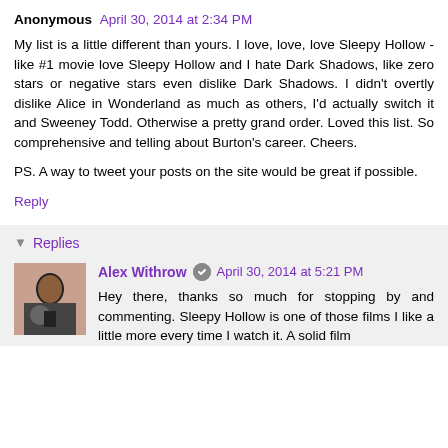Anonymous April 30, 2014 at 2:34 PM
My list is a little different than yours. I love, love, love Sleepy Hollow - like #1 movie love Sleepy Hollow and I hate Dark Shadows, like zero stars or negative stars even dislike Dark Shadows. I didn't overtly dislike Alice in Wonderland as much as others, I'd actually switch it and Sweeney Todd. Otherwise a pretty grand order. Loved this list. So comprehensive and telling about Burton's career. Cheers.
PS. A way to tweet your posts on the site would be great if possible.
Reply
Replies
Alex Withrow April 30, 2014 at 5:21 PM
Hey there, thanks so much for stopping by and commenting. Sleepy Hollow is one of those films I like a little more every time I watch it. A solid film